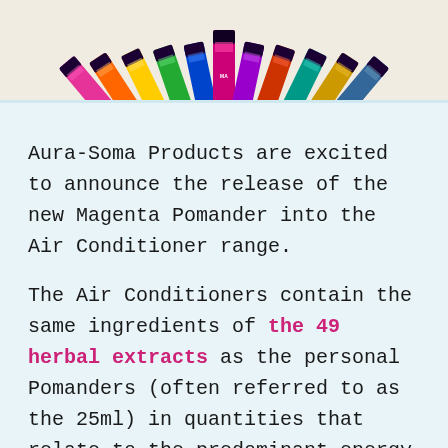[Figure (photo): Row of Aura-Soma Pomander bottles arranged in a fan shape, various colors, product packaging visible at top of page]
Aura-Soma Products are excited to announce the release of the new Magenta Pomander into the Air Conditioner range.
The Air Conditioners contain the same ingredients of the 49 herbal extracts as the personal Pomanders (often referred to as the 25ml) in quantities that relate to the predominant energy of the specific colour, in this case Magenta. Amongst the thirteen crystal essences contained within this Pomander are Rose Quartz, Opal, Rubellite and Watermelon